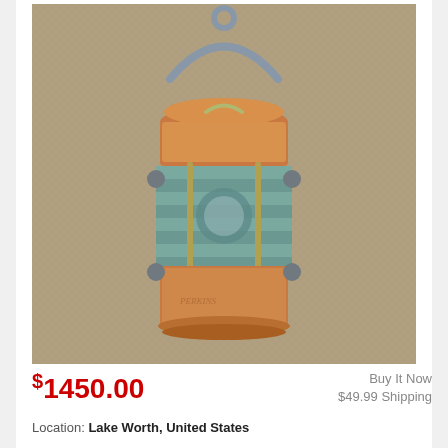[Figure (photo): A copper and brass marine ship lantern with a Fresnel glass lens, metal bail handle, and aged patina, displayed against a beige linen fabric background.]
$1450.00
Buy It Now
$49.99 Shipping
Location: Lake Worth, United States